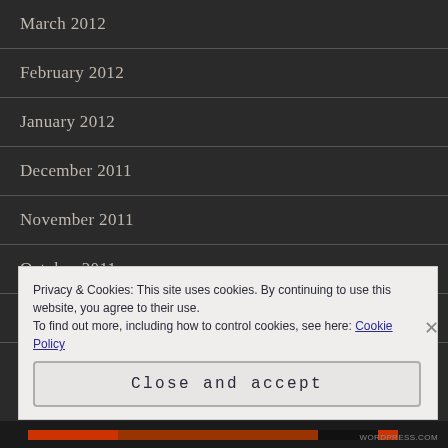March 2012
February 2012
January 2012
December 2011
November 2011
October 2011
September 2011
Privacy & Cookies: This site uses cookies. By continuing to use this website, you agree to their use. To find out more, including how to control cookies, see here: Cookie Policy
Close and accept